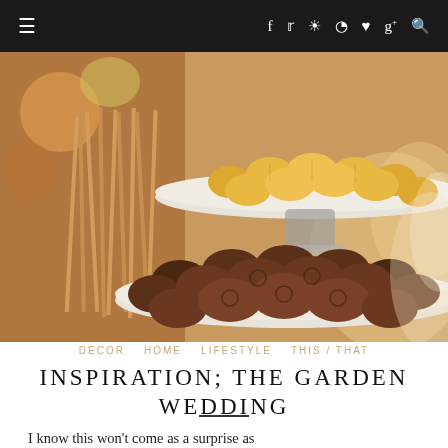≡  f  t  ☷  ⊕  ♥  g+  🔍
[Figure (photo): A two-tiered dessert stand with chocolate mini muffins/brownie bites on the lower tier and golden madeleine cookies on the upper tier, with wooden skewers visible in the background. Wedding reception dessert table.]
DECOR   HOME   LIFESTYLE   THIS/THAT
INSPIRATION; THE GARDEN WEDDING
I know this won't come as a surprise as